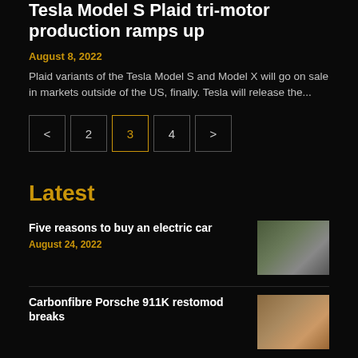Tesla Model S Plaid tri-motor production ramps up
August 8, 2022
Plaid variants of the Tesla Model S and Model X will go on sale in markets outside of the US, finally. Tesla will release the...
< 2 3 4 >
Latest
Five reasons to buy an electric car
August 24, 2022
[Figure (photo): Green SUV car driving on road]
Carbonfibre Porsche 911K restomod breaks
[Figure (photo): Porsche car outdoor scene]